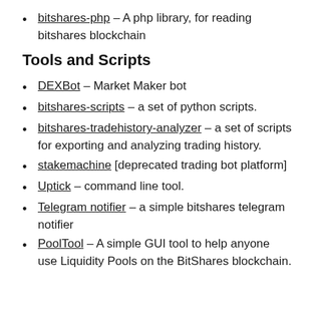bitshares-php – A php library, for reading bitshares blockchain
Tools and Scripts
DEXBot – Market Maker bot
bitshares-scripts – a set of python scripts.
bitshares-tradehistory-analyzer – a set of scripts for exporting and analyzing trading history.
stakemachine [deprecated trading bot platform]
Uptick – command line tool.
Telegram notifier – a simple bitshares telegram notifier
PoolTool – A simple GUI tool to help anyone use Liquidity Pools on the BitShares blockchain.